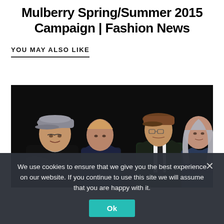Mulberry Spring/Summer 2015 Campaign | Fashion News
YOU MAY ALSO LIKE
[Figure (photo): Four men posed against a dark/black background; the leftmost wears a flat cap and has arms crossed, second from left in dark jacket, third wears a brown newsboy cap and dark velvet jacket with white shirt and tie, rightmost has long grey hair and arms crossed.]
We use cookies to ensure that we give you the best experience on our website. If you continue to use this site we will assume that you are happy with it.